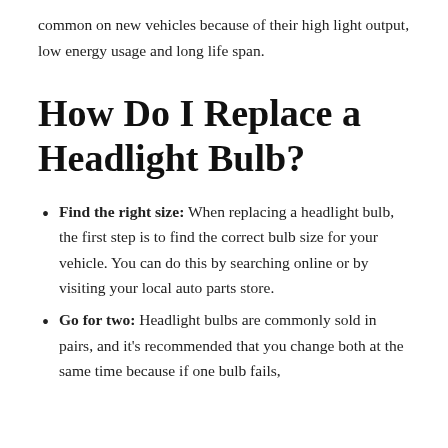common on new vehicles because of their high light output, low energy usage and long life span.
How Do I Replace a Headlight Bulb?
Find the right size: When replacing a headlight bulb, the first step is to find the correct bulb size for your vehicle. You can do this by searching online or by visiting your local auto parts store.
Go for two: Headlight bulbs are commonly sold in pairs, and it's recommended that you change both at the same time because if one bulb fails,